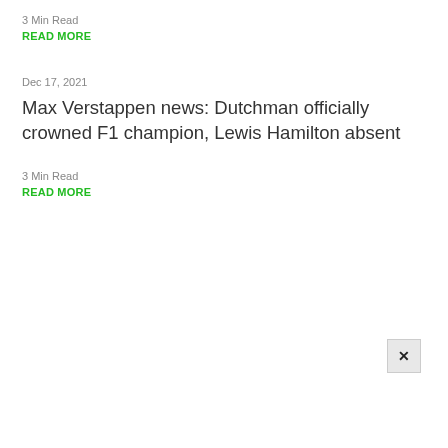3 Min Read
READ MORE
Dec 17, 2021
Max Verstappen news: Dutchman officially crowned F1 champion, Lewis Hamilton absent
3 Min Read
READ MORE